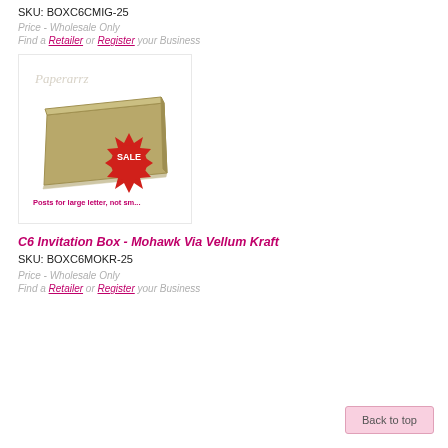SKU: BOXC6CMIG-25
Price - Wholesale Only
Find a Retailer or Register your Business
[Figure (photo): A tan/kraft colored C6 invitation box with a SALE starburst badge and text 'Posts for large letter, not sm...' below, with the Paperarrz watermark logo in the upper left.]
C6 Invitation Box - Mohawk Via Vellum Kraft
SKU: BOXC6MOKR-25
Price - Wholesale Only
Find a Retailer or Register your Business
Back to top